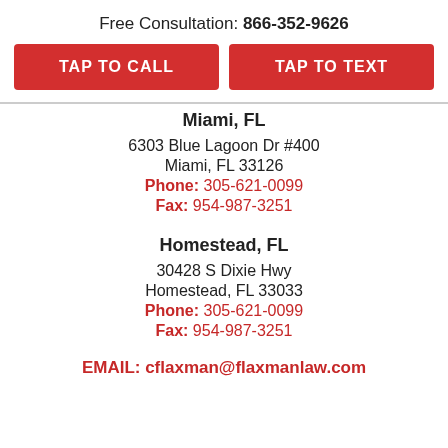Free Consultation: 866-352-9626
TAP TO CALL
TAP TO TEXT
Miami, FL
6303 Blue Lagoon Dr #400
Miami, FL 33126
Phone: 305-621-0099
Fax: 954-987-3251
Homestead, FL
30428 S Dixie Hwy
Homestead, FL 33033
Phone: 305-621-0099
Fax: 954-987-3251
EMAIL: cflaxman@flaxmanlaw.com